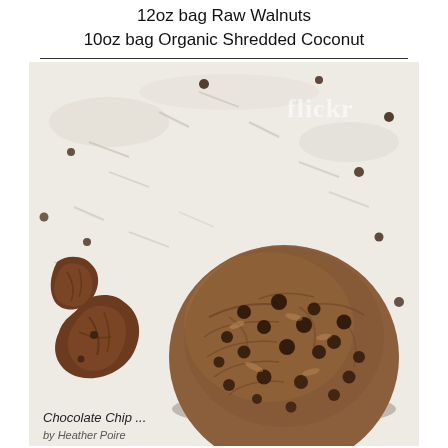12oz bag Raw Walnuts
10oz bag Organic Shredded Coconut
[Figure (photo): Overhead photo of a chocolate chip walnut muffin/cookie on a white surface with scattered chocolate chips, shredded coconut, and walnut pieces. A Flickr watermark appears in the upper right. Caption reads 'Chocolate Chip ...' and 'by Heather Poire'.]
Chocolate Chip ...
by Heather Poire